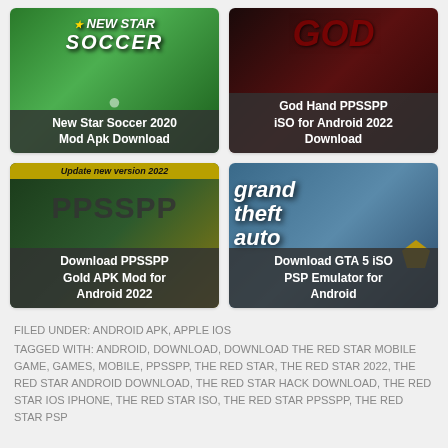[Figure (screenshot): New Star Soccer 2020 Mod Apk Download game thumbnail]
[Figure (screenshot): God Hand PPSSPP iSO for Android 2022 Download game thumbnail]
[Figure (screenshot): Download PPSSPP Gold APK Mod for Android 2022 game thumbnail]
[Figure (screenshot): Download GTA 5 iSO PSP Emulator for Android game thumbnail]
FILED UNDER: ANDROID APK, APPLE IOS
TAGGED WITH: ANDROID, DOWNLOAD, DOWNLOAD THE RED STAR MOBILE GAME, GAMES, MOBILE, PPSSPP, THE RED STAR, THE RED STAR 2022, THE RED STAR ANDROID DOWNLOAD, THE RED STAR HACK DOWNLOAD, THE RED STAR IOS IPHONE, THE RED STAR ISO, THE RED STAR PPSSPP, THE RED STAR PSP